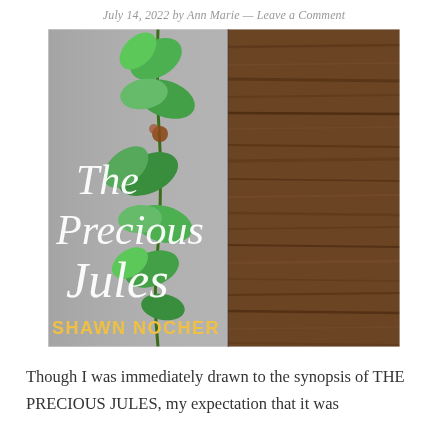July 14, 2022 by Ann Marie — Leave a Comment
[Figure (photo): Book cover of 'The Precious Jules' by Shawn Nocher. Left half shows a grayscale background with green ivy leaves climbing vertically, with white italic title text 'The Precious Jules' and gold author name 'SHAWN NOCHER'. Right half shows a dark brown wood-grain texture.]
Though I was immediately drawn to the synopsis of THE PRECIOUS JULES, my expectation that it was